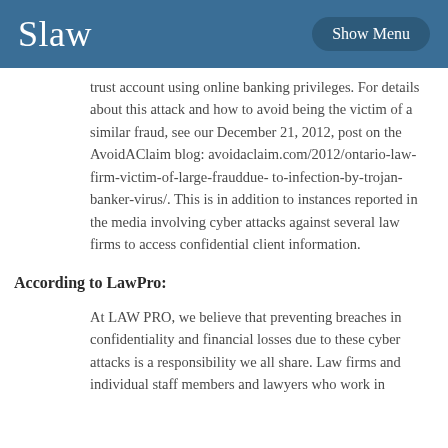Slaw | Show Menu
trust account using online banking privileges. For details about this attack and how to avoid being the victim of a similar fraud, see our December 21, 2012, post on the AvoidAClaim blog: avoidaclaim.com/2012/ontario-law-firm-victim-of-large-frauddue- to-infection-by-trojan-banker-virus/. This is in addition to instances reported in the media involving cyber attacks against several law firms to access confidential client information.
According to LawPro:
At LAW PRO, we believe that preventing breaches in confidentiality and financial losses due to these cyber attacks is a responsibility we all share. Law firms and individual staff members and lawyers who work in